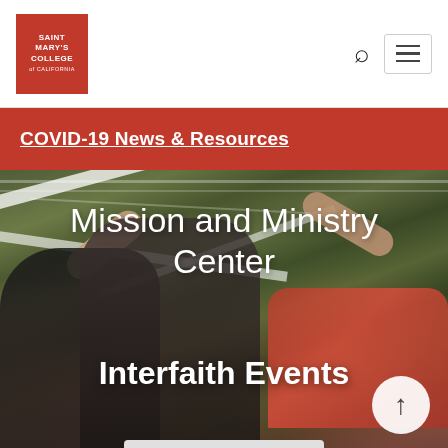Saint Mary's College of California — navigation header with logo, search icon, and menu icon
COVID-19 News & Resources
[Figure (photo): Photo of people reaching up to construct or decorate a thatched or woven ceiling structure, with colorful fabric visible. Overlaid with 'Mission and Ministry Center' heading and 'Interfaith Events' subheading in white text.]